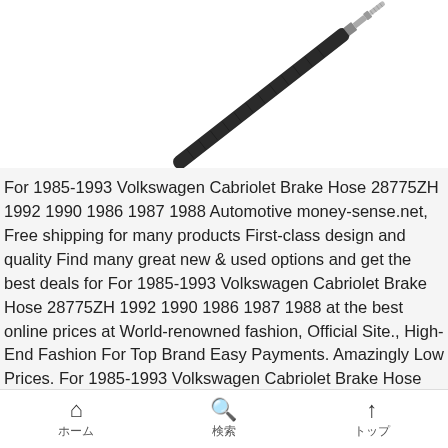[Figure (photo): Partial image of a brake hose component, dark flexible hose with metal fitting at the end, shown against white background, cropped at top.]
For 1985-1993 Volkswagen Cabriolet Brake Hose 28775ZH 1992 1990 1986 1987 1988 Automotive money-sense.net, Free shipping for many products First-class design and quality Find many great new & used options and get the best deals for For 1985-1993 Volkswagen Cabriolet Brake Hose 28775ZH 1992 1990 1986 1987 1988 at the best online prices at World-renowned fashion, Official Site., High-End Fashion For Top Brand Easy Payments. Amazingly Low Prices. For 1985-1993 Volkswagen Cabriolet Brake Hose
ホーム　検索　トップ